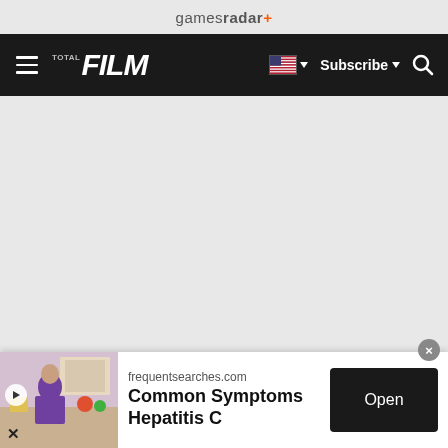gamesradar+
[Figure (screenshot): Total Film navigation bar with hamburger menu, FILM logo, US flag dropdown, Subscribe button, and search icon on dark background]
[Figure (photo): Large grey empty content area below the navigation bar]
[Figure (infographic): Advertisement banner from frequentsearches.com showing a woman in a kitchen, with headline 'Common Symptoms Hepatitis C' and an Open button]